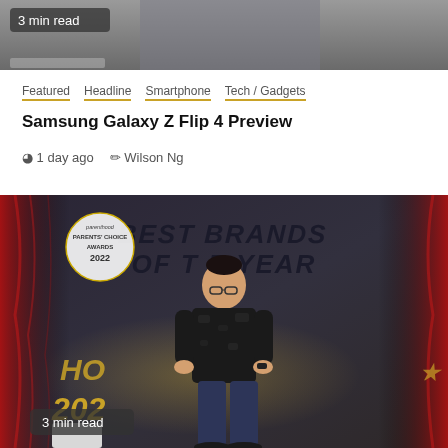[Figure (photo): Top portion of a photo showing a person in a dark striped shirt, cropped; '3 min read' badge overlaid at top left.]
Featured  Headline  Smartphone  Tech / Gadgets
Samsung Galaxy Z Flip 4 Preview
1 day ago   Wilson Ng
[Figure (photo): Event photo of a man in black camo t-shirt standing in front of a 'Best Brands of the Year 2022' backdrop with red curtains and gold trophies. '3 min read' badge at bottom left.]